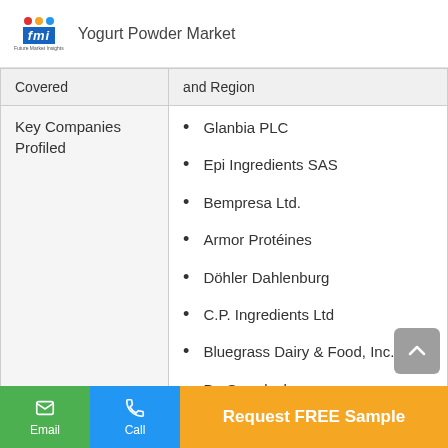Yogurt Powder Market
| Covered | and Region |
| --- | --- |
| Key Companies Profiled | Glanbia PLC
Epi Ingredients SAS
Bempresa Ltd.
Armor Protéines
Döhler Dahlenburg
C.P. Ingredients Ltd
Bluegrass Dairy & Food, Inc.
Dr. Suwelack
Kerry Group |
Email | Call | Request FREE Sample